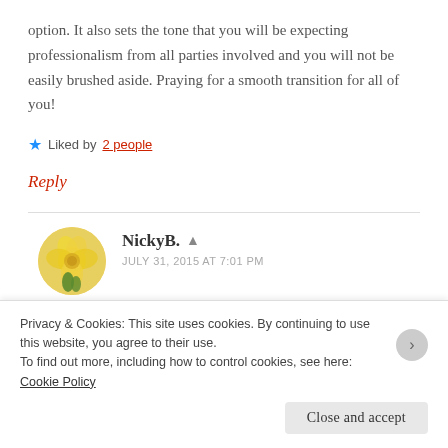option. It also sets the tone that you will be expecting professionalism from all parties involved and you will not be easily brushed aside. Praying for a smooth transition for all of you!
Liked by 2 people
Reply
NickyB.
JULY 31, 2015 AT 7:01 PM
Privacy & Cookies: This site uses cookies. By continuing to use this website, you agree to their use. To find out more, including how to control cookies, see here: Cookie Policy
Close and accept